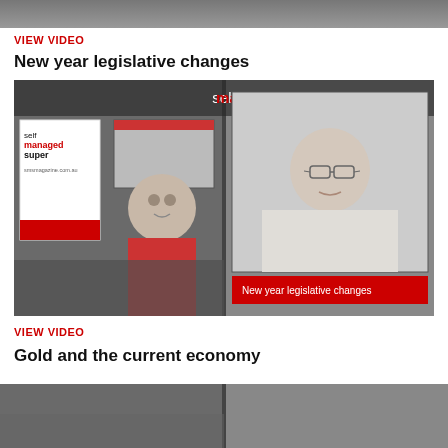[Figure (screenshot): Blurred top portion of a video thumbnail screenshot]
VIEW VIDEO
New year legislative changes
[Figure (screenshot): Video thumbnail showing two people in a split-screen video call with 'selfmanagedsuper' branding at top and red caption bar reading 'New year legislative changes']
VIEW VIDEO
Gold and the current economy
[Figure (screenshot): Blurred bottom portion of another video thumbnail]